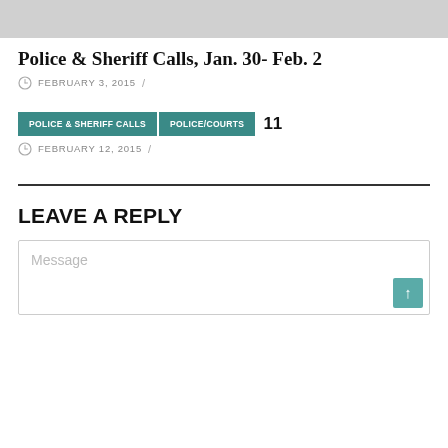[Figure (other): Gray banner/image area at top of page]
Police & Sheriff Calls, Jan. 30- Feb. 2
FEBRUARY 3, 2015 /
POLICE & SHERIFF CALLS  POLICE/COURTS  11
FEBRUARY 12, 2015 /
LEAVE A REPLY
Message